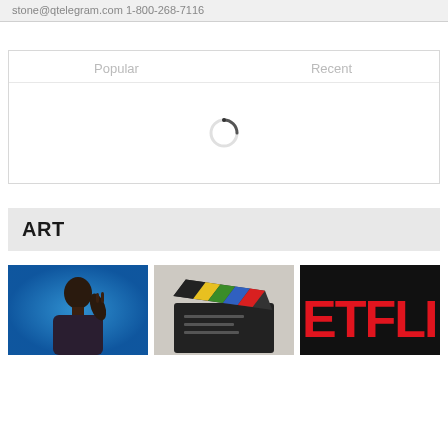stone@qtelegram.com 1-800-268-7116
[Figure (screenshot): Widget box with 'Popular' and 'Recent' tabs and a loading spinner in the center]
ART
[Figure (photo): Three thumbnail images in a row: a person gesturing against a blue background, a colorful film clapperboard, and a red Netflix-style logo on black background]